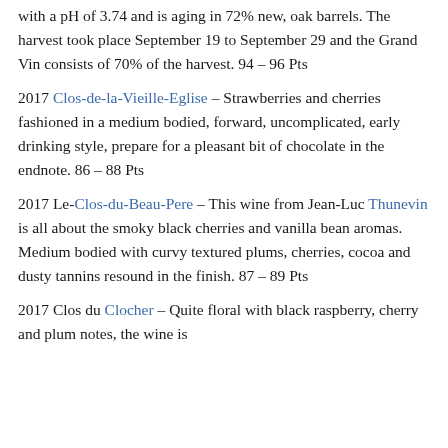with a pH of 3.74 and is aging in 72% new, oak barrels. The harvest took place September 19 to September 29 and the Grand Vin consists of 70% of the harvest. 94 – 96 Pts
2017 Clos-de-la-Vieille-Eglise – Strawberries and cherries fashioned in a medium bodied, forward, uncomplicated, early drinking style, prepare for a pleasant bit of chocolate in the endnote. 86 – 88 Pts
2017 Le-Clos-du-Beau-Pere – This wine from Jean-Luc Thunevin is all about the smoky black cherries and vanilla bean aromas. Medium bodied with curvy textured plums, cherries, cocoa and dusty tannins resound in the finish. 87 – 89 Pts
2017 Clos du Clocher – Quite floral with black raspberry, cherry and plum notes, the wine is